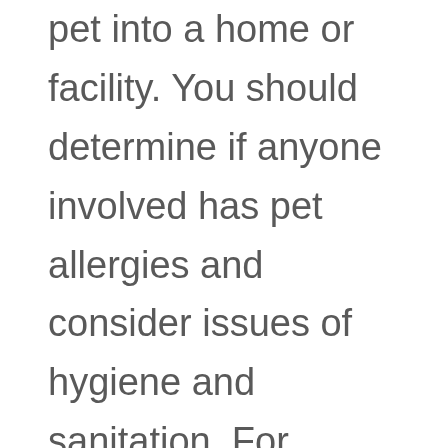pet into a home or facility. You should determine if anyone involved has pet allergies and consider issues of hygiene and sanitation. For example, among other things, you should make hand washing a requirement before and after contact with the pet, and be careful to prevent contact between animal and medical devices. Also, the pets should be screened for suitability. Animals prone to aggressive behavior such as scratching, biting or overly